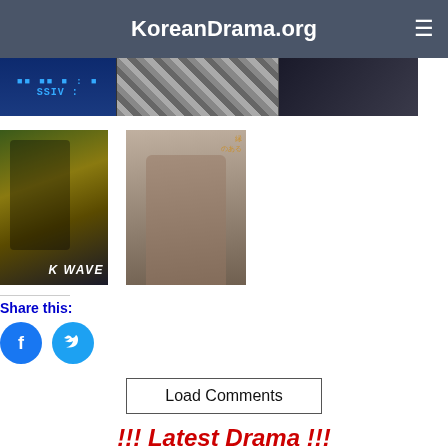KoreanDrama.org
[Figure (photo): Banner row with three images: blue TV channel screen with SSIV text, plaid fabric close-up, dark dramatic scene]
[Figure (photo): K WAVE magazine cover with male actor in suit]
[Figure (photo): Magazine cover with male model lifting shirt, showing torso]
Share this:
[Figure (other): Facebook and Twitter share icon buttons (circles)]
Load Comments
!!! Latest Drama !!!